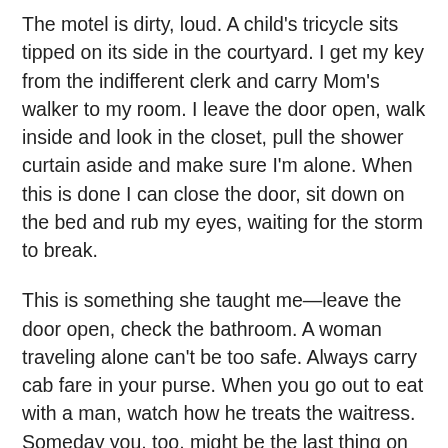The motel is dirty, loud. A child's tricycle sits tipped on its side in the courtyard. I get my key from the indifferent clerk and carry Mom's walker to my room. I leave the door open, walk inside and look in the closet, pull the shower curtain aside and make sure I'm alone. When this is done I can close the door, sit down on the bed and rub my eyes, waiting for the storm to break.
This is something she taught me—leave the door open, check the bathroom. A woman traveling alone can't be too safe. Always carry cab fare in your purse. When you go out to eat with a man, watch how he treats the waitress. Someday you, too, might be the last thing on his mind.
My mom endured an oversized amount of tragedy over her lifetime, stuff that would send some people to the bottle or the grave, stuff I won't betray her privacy by